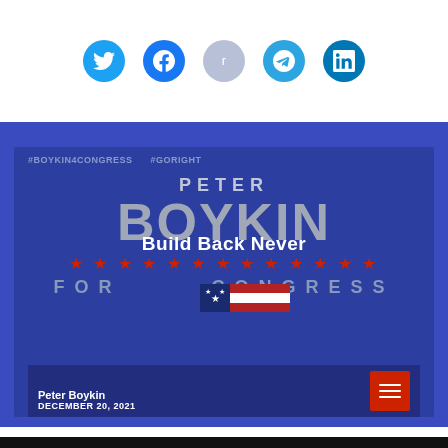[Figure (illustration): Row of social media icons: Twitter (blue bird), Facebook (blue f), Reddit (gray alien), Telegram (blue paper plane), LinkedIn (blue in)]
[Figure (photo): Peter Boykin for Congress campaign sign — dark blue background, text reads #BOYKIN4CONGRESS #GORIGHT, PETER BOYKIN FOR CONGRESS with red stars and American flag graphic. Overlay text says Build Back Never. Footer shows Peter Boykin and DECEMBER 20, 2021 with a red menu button.]